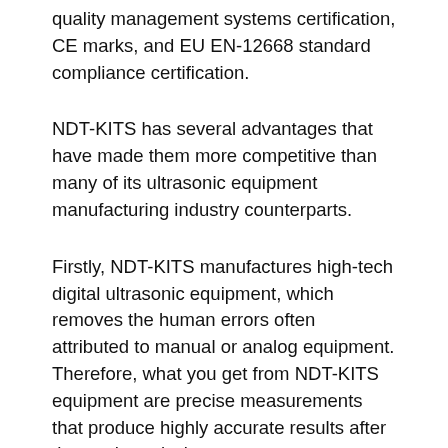quality management systems certification, CE marks, and EU EN-12668 standard compliance certification.
NDT-KITS has several advantages that have made them more competitive than many of its ultrasonic equipment manufacturing industry counterparts.
Firstly, NDT-KITS manufactures high-tech digital ultrasonic equipment, which removes the human errors often attributed to manual or analog equipment. Therefore, what you get from NDT-KITS equipment are precise measurements that produce highly accurate results after thorough analysis.
Secondly, NDT-KITS offers competitive pricing for their products which means you get both quality and save money if you choose NDT-KITS' products. What's more, you get the same quality or even